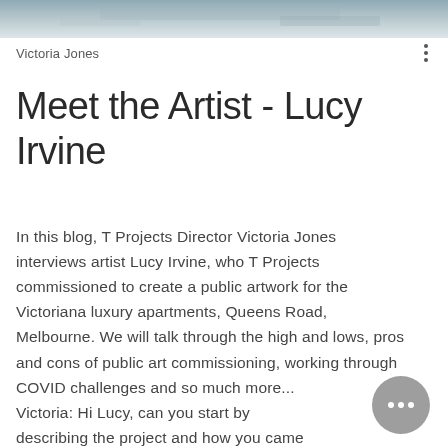[Figure (photo): Header image showing a blurred grey-blue textured background, likely a sky or water surface]
Victoria Jones
Meet the Artist - Lucy Irvine
In this blog, T Projects Director Victoria Jones interviews artist Lucy Irvine, who T Projects commissioned to create a public artwork for the Victoriana luxury apartments, Queens Road, Melbourne. We will talk through the high and lows, pros and cons of public art commissioning, working through COVID challenges and so much more... Victoria: Hi Lucy, can you start by describing the project and how you came